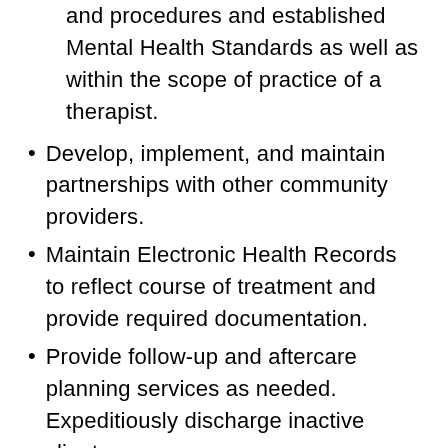and procedures and established Mental Health Standards as well as within the scope of practice of a therapist.
Develop, implement, and maintain partnerships with other community providers.
Maintain Electronic Health Records to reflect course of treatment and provide required documentation.
Provide follow-up and aftercare planning services as needed. Expeditiously discharge inactive clients.